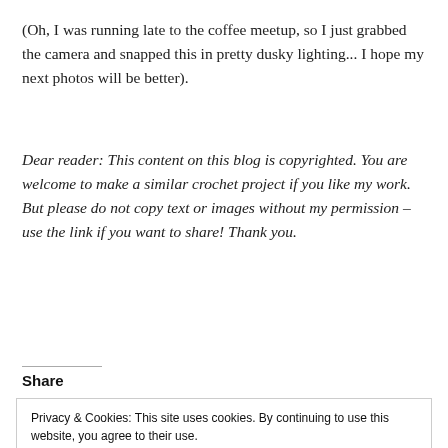(Oh, I was running late to the coffee meetup, so I just grabbed the camera and snapped this in pretty dusky lighting... I hope my next photos will be better).
Dear reader: This content on this blog is copyrighted. You are welcome to make a similar crochet project if you like my work. But please do not copy text or images without my permission – use the link if you want to share! Thank you.
Share
Privacy & Cookies: This site uses cookies. By continuing to use this website, you agree to their use.
To find out more, including how to control cookies, see here: Cookie Policy